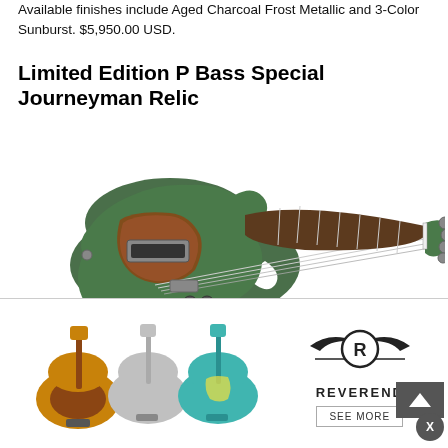Available finishes include Aged Charcoal Frost Metallic and 3-Color Sunburst. $5,950.00 USD.
Limited Edition P Bass Special Journeyman Relic
[Figure (photo): Photo of a green electric bass guitar (P Bass Special Journeyman Relic) with tortoiseshell pickguard, rosewood fretboard, shown horizontally against white background.]
Available finishes include 3-Color Sunburst, Aged Dakota Red and Aged Sherwood Green Metallic. $5,250.00 USD.
Limited Edition Tomatillo Tele Journeyman Relic
[Figure (advertisement): Reverend Guitars advertisement banner showing three electric guitars (sunburst, silver, teal) and the Reverend logo with a 'SEE MORE' button.]